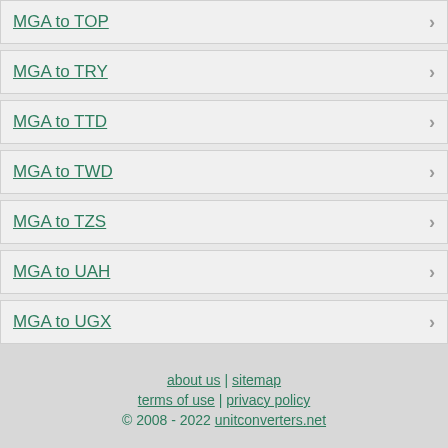MGA to TOP
MGA to TRY
MGA to TTD
MGA to TWD
MGA to TZS
MGA to UAH
MGA to UGX
MGA to UYU
MGA to UZS
about us | sitemap
terms of use | privacy policy
© 2008 - 2022 unitconverters.net